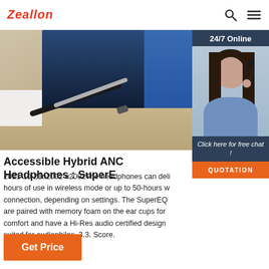Zeallon
[Figure (photo): Blurred photo of a desk with a device, pens, and paper in a tan/brown color palette]
[Figure (photo): 24/7 Online chat widget showing a smiling woman with headset and a QUOTATION button]
Accessible Hybrid ANC Headphones : SuperE
2021-10-21u2002·u2002The headphones can deliver 40-hours of use in wireless mode or up to 50-hours with wired connection, depending on settings. The SuperEQ pads are paired with memory foam on the ear cups for comfort and have a Hi-Res audio certified design that is well suited for audiophiles. 3.3. Score.
Get Price